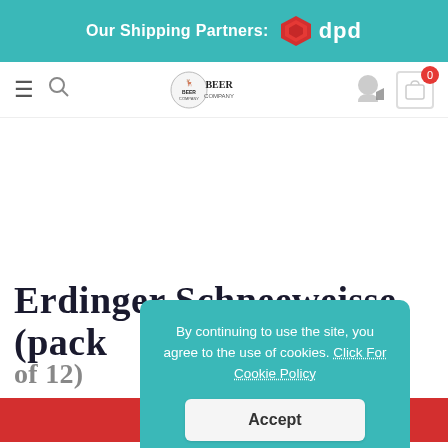Our Shipping Partners: dpd
[Figure (screenshot): Navigation bar with hamburger menu, search icon, Beer Company logo, user/shield icon, and cart icon showing 0 items]
Erdinger Schneeweisse (Pack of 12)
[Figure (screenshot): Cookie consent modal overlay on teal background: 'By continuing to use the site, you agree to the use of cookies. Click For Cookie Policy' with an Accept button]
[Figure (photo): Bottom of a brown beer bottle visible at bottom of page]